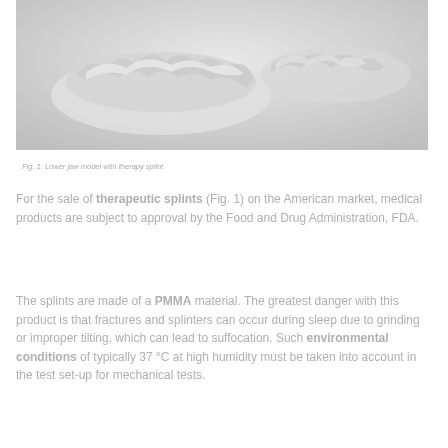[Figure (photo): Lower jaw model with therapy splint - white/translucent dental models photographed against light background]
Fig. 1: Lower jaw model with therapy splint
For the sale of therapeutic splints (Fig. 1) on the American market, medical products are subject to approval by the Food and Drug Administration, FDA.
The splints are made of a PMMA material. The greatest danger with this product is that fractures and splinters can occur during sleep due to grinding or improper tilting, which can lead to suffocation. Such environmental conditions of typically 37 °C at high humidity must be taken into account in the test set-up for mechanical tests.